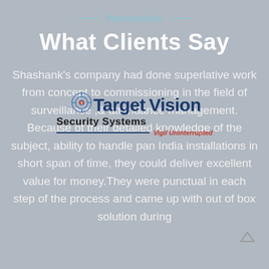Testimonials
What Clients Say
[Figure (logo): Target Vision Security Systems logo with target/crosshair icon, bold blue text reading 'Target Vision', 'Security Systems' subtitle, horizontal blue divider line, and italic red text 'Vigil Uninterrupted']
Shashank's company had done superlative work from concept to commissioning in the field of surveillance ,& attendance management. Because of their detailed knowledge of the subject, ability to handle pan India installations in short span of time, they could deliver excellent value for money.They were punctual in each step of the process and came up with out of box solution during